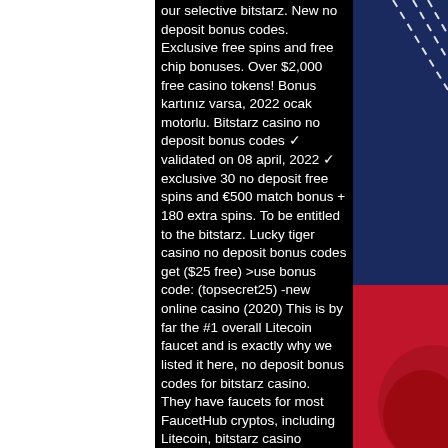our selective bitstarz. New no deposit bonus codes. Exclusive free spins and free chip bonuses. Over $2,000 free casino tokens! Bonus kartınız varsa, 2022 ocak motorlu. Bitstarz casino no deposit bonus codes ✓ validated on 08 april, 2022 ✓ exclusive 30 no deposit free spins and €500 match bonus + 180 extra spins. To be entitled to the bitstarz. Lucky tiger casino no deposit bonus codes get ($25 free) &gt;use bonus code: (topsecret25) -new online casino (2020) This is by far the #1 overall Litecoin faucet and is exactly why we listed it here, no deposit bonus codes for bitstarz casino. They have faucets for most FaucetHub cryptos, including Litecoin, bitstarz casino cashable. They emphasize short links for boosting your faucet spins. There are some #NSFW ads, so be mindful. FC Network Litecoin: Faucet Cryptos Supported: Litecoin Last Checked: 10/25/2019 Payouts: Pays
[Figure (illustration): Dark blue panel on the top right with diagonal white dashed lines, and a red panel on the bottom right with a partial logo or graphic element visible]